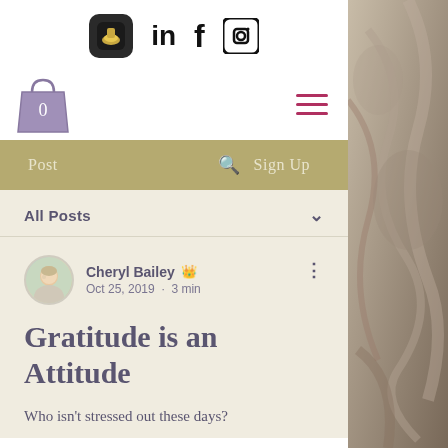[Figure (screenshot): Website screenshot showing social media icons (Insight Timer, LinkedIn, Facebook, Instagram) at the top, a shopping bag icon with 0 items and a hamburger menu, an olive/khaki navigation bar with Post, search icon, and Sign Up options, an All Posts dropdown section, and a blog post by Cheryl Bailey dated Oct 25, 2019 titled 'Gratitude is an Attitude' with excerpt 'Who isn't stressed out these days?'. Right side shows a decorative stone/sculpture image.]